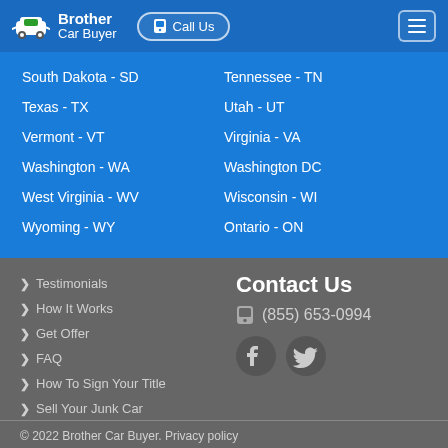Brother Car Buyer — Call Us
South Dakota - SD
Tennessee - TN
Texas - TX
Utah - UT
Vermont - VT
Virginia - VA
Washington - WA
Washington DC
West Virginia - WV
Wisconsin - WI
Wyoming - WY
Ontario - ON
Testimonials
How It Works
Get Offer
FAQ
How To Sign Your Title
Sell Your Junk Car
Contact Us
(855) 653-0994
© 2022 Brother Car Buyer. Privacy policy